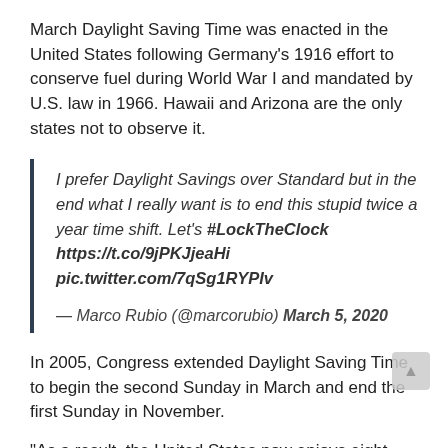March Daylight Saving Time was enacted in the United States following Germany's 1916 effort to conserve fuel during World War I and mandated by U.S. law in 1966. Hawaii and Arizona are the only states not to observe it.
I prefer Daylight Savings over Standard but in the end what I really want is to end this stupid twice a year time shift. Let's #LockTheClock https://t.co/9jPKJjeaHi pic.twitter.com/7qSg1RYPIv

— Marco Rubio (@marcorubio) March 5, 2020
In 2005, Congress extended Daylight Saving Time to begin the second Sunday in March and end the first Sunday in November.
“As a result, the United States now enjoys eight months of DST, and only four months of standard time (November-March),” Rubio said in a news release.